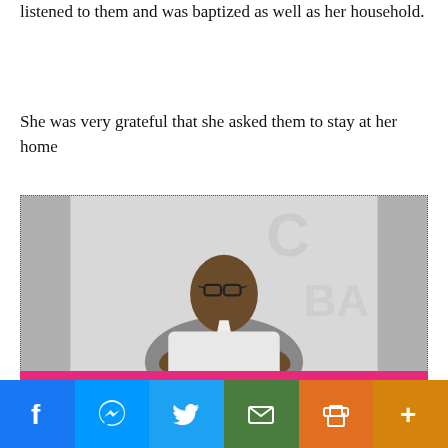listened to them and was baptized as well as her household.
She was very grateful that she asked them to stay at her home
[Figure (photo): Grayscale photo of a man wearing glasses and a white shirt, sitting with hands gesturing, in front of a banner/backdrop with partial text visible.]
f  [messenger]  [twitter]  [email]  [print]  +